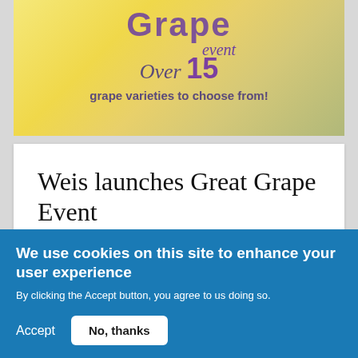[Figure (illustration): Promotional banner for Weis Great Grape Event showing stylized text 'grape event' with 'Over 15 grape varieties to choose from!' on a golden/yellow background]
Weis launches Great Grape Event
September 2, 2022
[Figure (screenshot): Partial view of a second article card showing a logo/brand mark in red and a green leaf icon]
We use cookies on this site to enhance your user experience
By clicking the Accept button, you agree to us doing so.
Accept
No, thanks